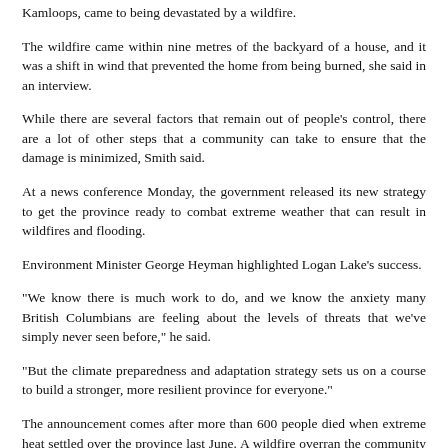Kamloops, came to being devastated by a wildfire.
The wildfire came within nine metres of the backyard of a house, and it was a shift in wind that prevented the home from being burned, she said in an interview.
While there are several factors that remain out of people's control, there are a lot of other steps that a community can take to ensure that the damage is minimized, Smith said.
At a news conference Monday, the government released its new strategy to get the province ready to combat extreme weather that can result in wildfires and flooding.
Environment Minister George Heyman highlighted Logan Lake's success.
"We know there is much work to do, and we know the anxiety many British Columbians are feeling about the levels of threats that we've simply never seen before," he said.
"But the climate preparedness and adaptation strategy sets us on a course to build a stronger, more resilient province for everyone."
The announcement comes after more than 600 people died when extreme heat settled over the province last June. A wildfire overran the community of Lytton the day after a Canadian heat record was